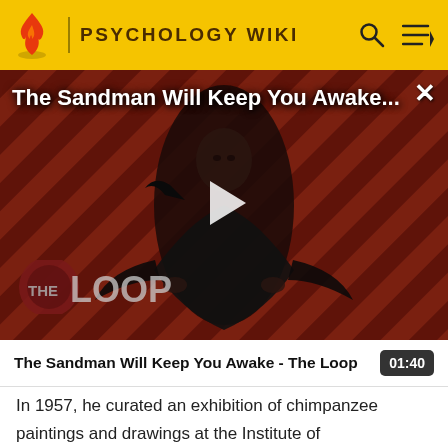PSYCHOLOGY WIKI
[Figure (screenshot): Video thumbnail for 'The Sandman Will Keep You Awake - The Loop' showing a dark-caped figure against a red and black diagonal striped background with THE LOOP logo, and a white play button in the center.]
The Sandman Will Keep You Awake - The Loop  01:40
In 1957, he curated an exhibition of chimpanzee paintings and drawings at the Institute of Contemporary Arts, London, including paintings by a young chimpanzee called